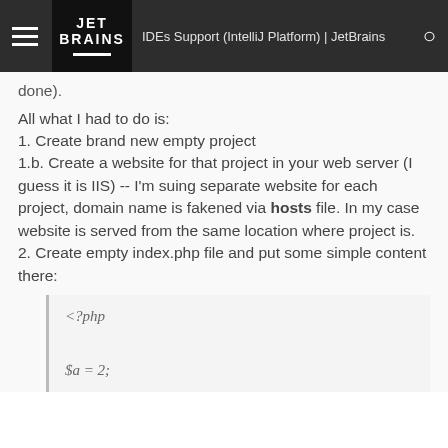IDEs Support (IntelliJ Platform) | JetBrains
done).
All what I had to do is:
1. Create brand new empty project
1.b. Create a website for that project in your web server (I guess it is IIS) -- I'm suing separate website for each project, domain name is fakened via hosts file. In my case website is served from the same location where project is.
2. Create empty index.php file and put some simple content there:
<?php

$a = 2;